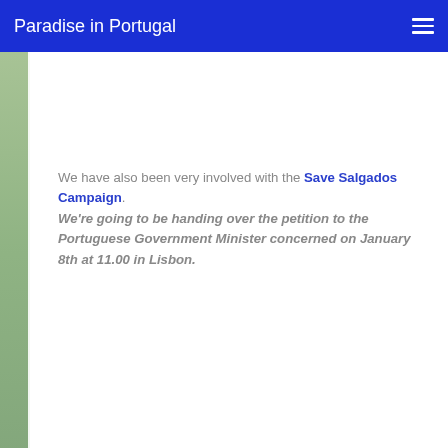Paradise in Portugal
We have also been very involved with the Save Salgados Campaign. We're going to be handing over the petition to the Portuguese Government Minister concerned on January 8th at 11.00 in Lisbon.